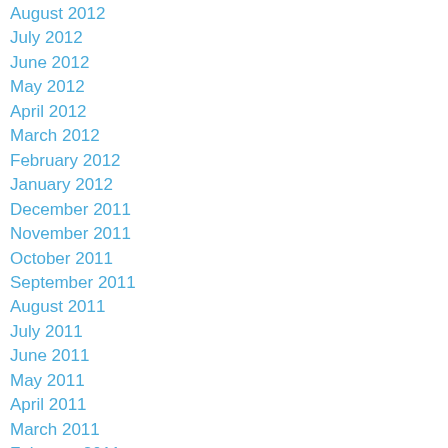August 2012
July 2012
June 2012
May 2012
April 2012
March 2012
February 2012
January 2012
December 2011
November 2011
October 2011
September 2011
August 2011
July 2011
June 2011
May 2011
April 2011
March 2011
February 2011
January 2011
December 2010